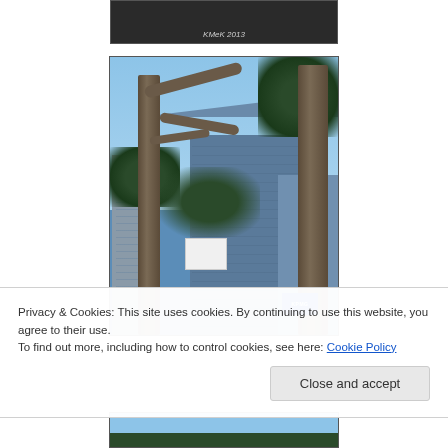[Figure (photo): Top partial photo cropped at top of page, dark background with small italic text 'KMeK 2013' visible]
[Figure (photo): Photograph of urban scene with eucalyptus tree trunks and branches framing modern glass skyscrapers against a blue sky. A KPMG sign visible at bottom right. White sign box mid-frame.]
Privacy & Cookies: This site uses cookies. By continuing to use this website, you agree to their use.
To find out more, including how to control cookies, see here: Cookie Policy
[Figure (photo): Bottom partial photo, blue sky with dark tree silhouettes at bottom]